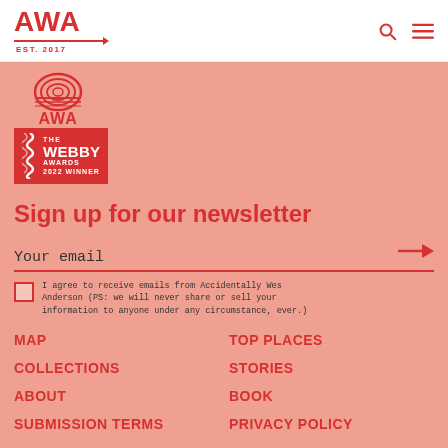[Figure (logo): AWA logo with red bold text and arrow line, EST. 2017]
[Figure (logo): AWA badge icon (circular knit pattern) and The Webby Awards 2022 Winner badge]
Sign up for our newsletter
Your email
I agree to receive emails from Accidentally Wes Anderson (PS: we will never share or sell your information to anyone under any circumstance, ever.)
MAP
TOP PLACES
COLLECTIONS
STORIES
ABOUT
BOOK
SUBMISSION TERMS
PRIVACY POLICY